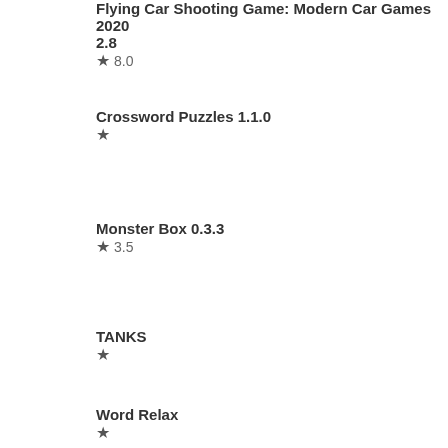Flying Car Shooting Game: Modern Car Games 2020 2.8
★ 8.0
Crossword Puzzles 1.1.0
★
Monster Box 0.3.3
★ 3.5
TANKS
★
Word Relax
★